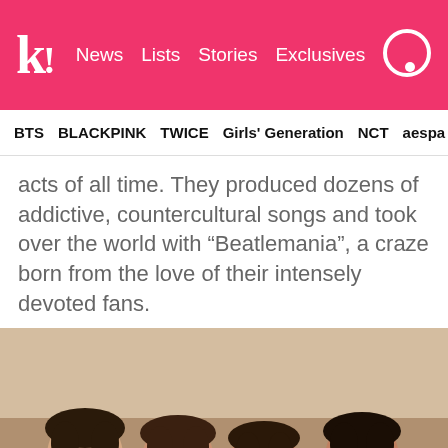k! News Lists Stories Exclusives
BTS BLACKPINK TWICE Girls' Generation NCT aespa
acts of all time. They produced dozens of addictive, countercultural songs and took over the world with “Beatlemania”, a craze born from the love of their intensely devoted fans.
[Figure (photo): Black and white photo of four young men (The Beatles) posing together, wearing suits, smiling at the camera.]